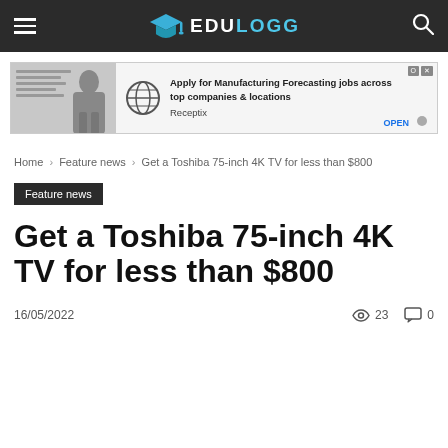EDULOGG
[Figure (photo): Advertisement banner: Apply for Manufacturing Forecasting jobs across top companies & locations. Receptix. OPEN]
Home › Feature news › Get a Toshiba 75-inch 4K TV for less than $800
Feature news
Get a Toshiba 75-inch 4K TV for less than $800
16/05/2022  👁 23  💬 0